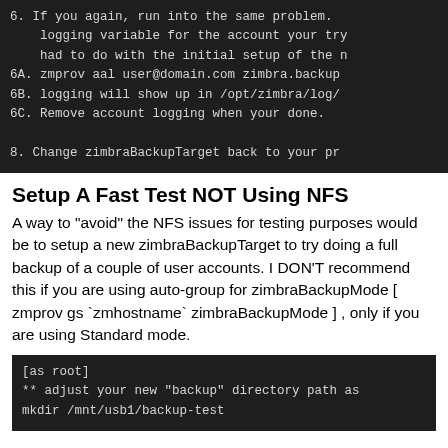[Figure (screenshot): Dark terminal/code block showing numbered list items 6, 6A, 6B, 6C, 8 with commands about zimbra logging and backup]
Setup A Fast Test NOT Using NFS
A way to "avoid" the NFS issues for testing purposes would be to setup a new zimbraBackupTarget to try doing a full backup of a couple of user accounts. I DON'T recommend this if you are using auto-group for zimbraBackupMode [ zmprov gs `zmhostname` zimbraBackupMode ] , only if you are using Standard mode.
[Figure (screenshot): Dark terminal/code block showing [as root], ** adjust your new "backup" directory path as, mkdir /mnt/usb1/backup-test]